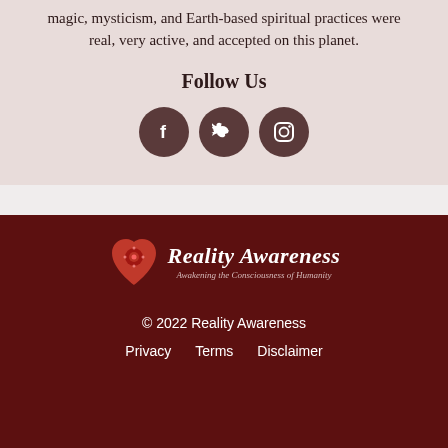magic, mysticism, and Earth-based spiritual practices were real, very active, and accepted on this planet.
Follow Us
[Figure (illustration): Three circular social media icons: Facebook (f), Twitter (bird), Instagram (camera) on dark brownish circles]
[Figure (logo): Reality Awareness logo: red heart with spiral design on left, italic white text 'Reality Awareness' with tagline 'Awakening the Consciousness of Humanity']
© 2022 Reality Awareness
Privacy  Terms  Disclaimer